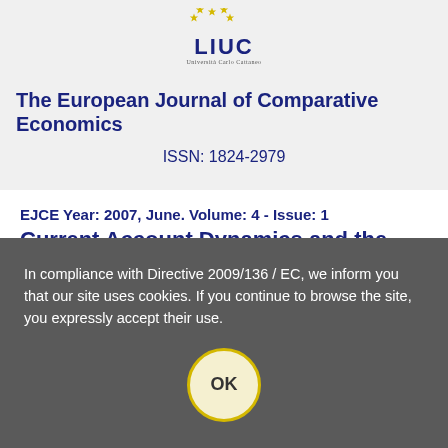[Figure (logo): LIUC university logo with stars and subtitle text]
The European Journal of Comparative Economics
ISSN: 1824-2979
EJCE Year: 2007, June. Volume: 4 - Issue: 1
Current Account Dynamics and the Feldstein and Horioka Puzzle: the Case of Greece
In compliance with Directive 2009/136 / EC, we inform you that our site uses cookies. If you continue to browse the site, you expressly accept their use.